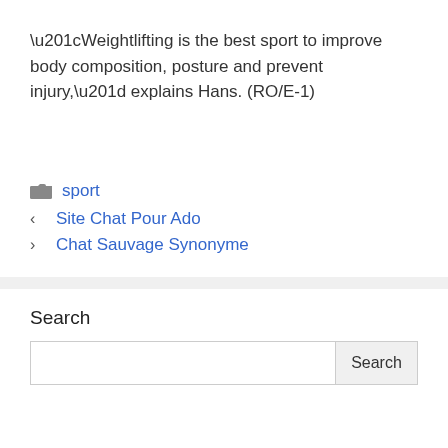“Weightlifting is the best sport to improve body composition, posture and prevent injury,” explains Hans. (RO/E-1)
sport
Site Chat Pour Ado
Chat Sauvage Synonyme
Search